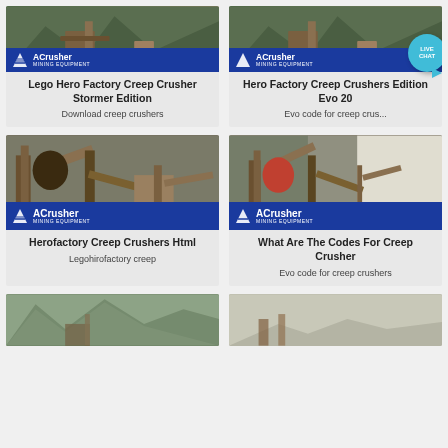[Figure (photo): Mining equipment photo with ACrusher Mining Equipment logo banner - top left card]
Lego Hero Factory Creep Crusher Stormer Edition
Download creep crushers
[Figure (photo): Mining equipment photo with ACrusher Mining Equipment logo banner - top right card]
Hero Factory Creep Crushers Edition Evo 20
Evo code for creep crus...
[Figure (photo): Mining crushing plant with ACrusher Mining Equipment logo banner - middle left card]
Herofactory Creep Crushers Html
Legohirofactory creep
[Figure (photo): Mining crushing plant with ACrusher Mining Equipment logo banner - middle right card]
What Are The Codes For Creep Crusher
Evo code for creep crushers
[Figure (photo): Mining operation outdoor landscape - bottom left card]
[Figure (photo): Mining site open area - bottom right card]